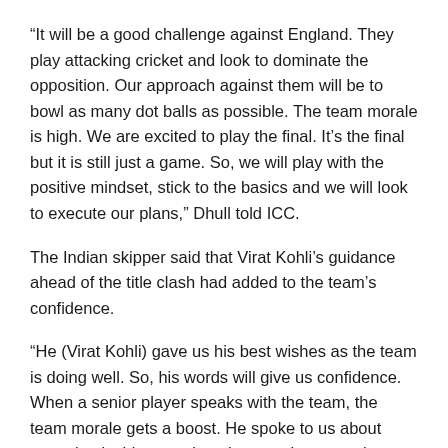“It will be a good challenge against England. They play attacking cricket and look to dominate the opposition. Our approach against them will be to bowl as many dot balls as possible. The team morale is high. We are excited to play the final. It’s the final but it is still just a game. So, we will play with the positive mindset, stick to the basics and we will look to execute our plans,” Dhull told ICC.
The Indian skipper said that Virat Kohli’s guidance ahead of the title clash had added to the team’s confidence.
“He (Virat Kohli) gave us his best wishes as the team is doing well. So, his words will give us confidence. When a senior player speaks with the team, the team morale gets a boost. He spoke to us about some basic things such as how to play normal cricket, how to stick to our game plan, etc. It was good to interact with him,” added Dhull.